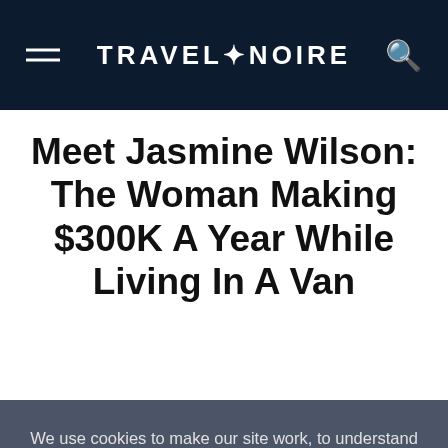TRAVEL+NOIRE
Meet Jasmine Wilson: The Woman Making $300K A Year While Living In A Van
We use cookies to make our site work, to understand how it is used, and to tailor advertisements presented on our site. By clicking “Accept”, you agree to us doing so. You can read more by clicking on our privacy policy here.